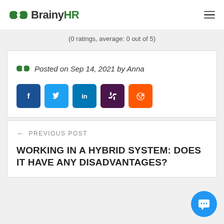BrainyHR
(0 ratings, average: 0 out of 5)
Posted on Sep 14, 2021 by Anna
[Figure (other): Social share buttons: Facebook, Twitter, LinkedIn, Slack, Reddit]
← PREVIOUS POST
WORKING IN A HYBRID SYSTEM: DOES IT HAVE ANY DISADVANTAGES?